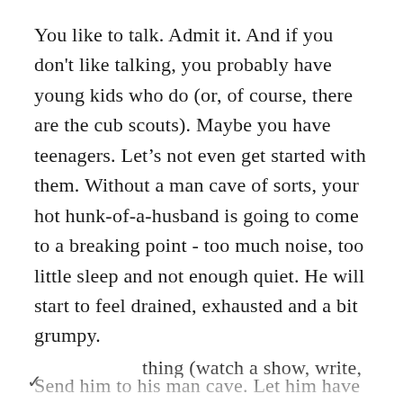You like to talk. Admit it. And if you don't like talking, you probably have young kids who do (or, of course, there are the cub scouts). Maybe you have teenagers. Let's not even get started with them. Without a man cave of sorts, your hot hunk-of-a-husband is going to come to a breaking point - too much noise, too little sleep and not enough quiet. He will start to feel drained, exhausted and a bit grumpy.
Send him to his man cave. Let him have some downtime, some quiet time, some thinking and tinkering time. He needs that. Being able to do [continues below]...